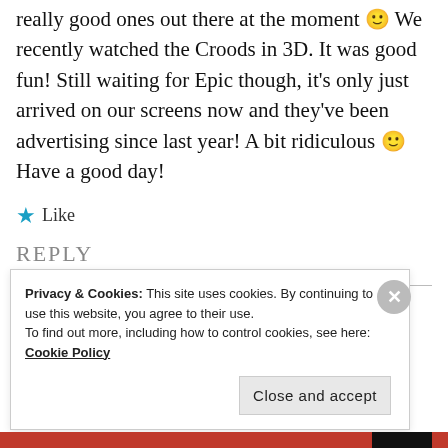really good ones out there at the moment 🙂 We recently watched the Croods in 3D. It was good fun! Still waiting for Epic though, it's only just arrived on our screens now and they've been advertising since last year! A bit ridiculous 🙂 Have a good day!
★ Like
REPLY
Privacy & Cookies: This site uses cookies. By continuing to use this website, you agree to their use.
To find out more, including how to control cookies, see here: Cookie Policy